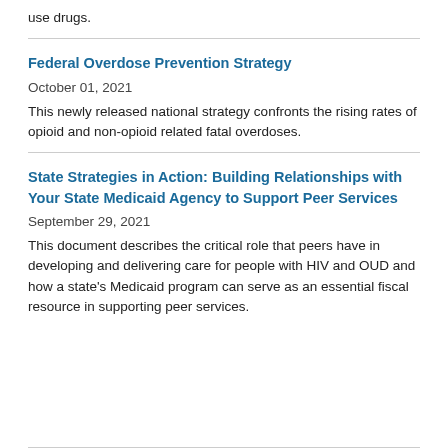use drugs.
Federal Overdose Prevention Strategy
October 01, 2021
This newly released national strategy confronts the rising rates of opioid and non-opioid related fatal overdoses.
State Strategies in Action: Building Relationships with Your State Medicaid Agency to Support Peer Services
September 29, 2021
This document describes the critical role that peers have in developing and delivering care for people with HIV and OUD and how a state's Medicaid program can serve as an essential fiscal resource in supporting peer services.